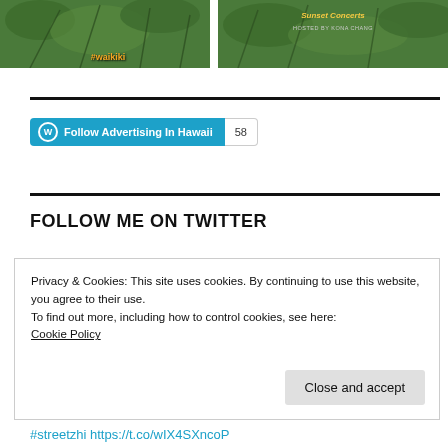[Figure (photo): Left thumbnail image showing green foliage with orange #waikiki hashtag text overlay]
[Figure (photo): Right thumbnail showing green outdoor scene with 'Sunset Concerts Hosted by Kona Chang' text overlay]
[Figure (screenshot): WordPress Follow button for 'Advertising In Hawaii' with follower count 58]
FOLLOW ME ON TWITTER
Privacy & Cookies: This site uses cookies. By continuing to use this website, you agree to their use.
To find out more, including how to control cookies, see here:
Cookie Policy
Close and accept
#streetzhi https://t.co/wIX4SXncoP